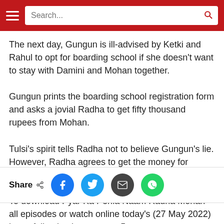Search...
The next day, Gungun is ill-advised by Ketki and Rahul to opt for boarding school if she doesn't want to stay with Damini and Mohan together.
Gungun prints the boarding school registration form and asks a jovial Radha to get fifty thousand rupees from Mohan.
Tulsi's spirit tells Radha not to believe Gungun's lie. However, Radha agrees to get the money for Gungun only if she calls Mohan her 'Papa'.
To download Pyar Ka Pehla Naam Radha Mohan all episodes or watch online today's (27 May 2022) latest full episode, go to zee5.com
Share